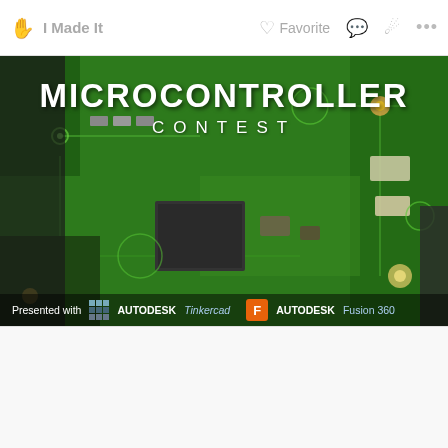I Made It | Favorite
[Figure (photo): Microcontroller Contest banner image showing a green PCB circuit board background with white bold text reading 'MICROCONTROLLER CONTEST'. Bottom sponsor strip reads 'Presented with AUTODESK Tinkercad' and 'F AUTODESK Fusion 360'.]